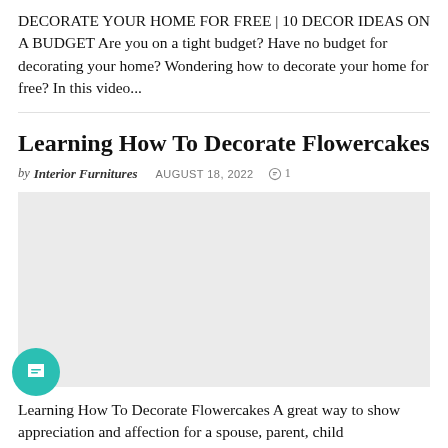DECORATE YOUR HOME FOR FREE | 10 DECOR IDEAS ON A BUDGET Are you on a tight budget? Have no budget for decorating your home? Wondering how to decorate your home for free? In this video...
Learning How To Decorate Flowercakes
by Interior Furnitures   AUGUST 18, 2022   ○ 1
[Figure (photo): Placeholder image with light gray background, no visible content]
Learning How To Decorate Flowercakes A great way to show appreciation and affection for a spouse, parent, child...